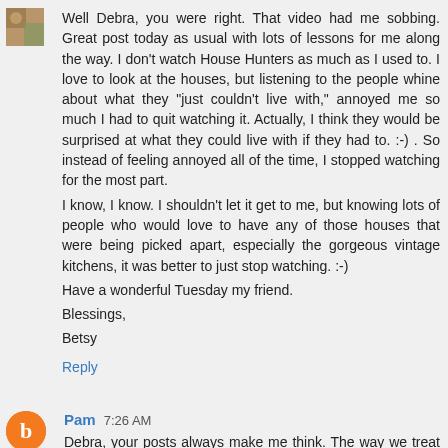[Figure (photo): Small square avatar photo thumbnail in top left corner]
Well Debra, you were right. That video had me sobbing. Great post today as usual with lots of lessons for me along the way. I don't watch House Hunters as much as I used to. I love to look at the houses, but listening to the people whine about what they "just couldn't live with," annoyed me so much I had to quit watching it. Actually, I think they would be surprised at what they could live with if they had to. :-) . So instead of feeling annoyed all of the time, I stopped watching for the most part.
I know, I know. I shouldn't let it get to me, but knowing lots of people who would love to have any of those houses that were being picked apart, especially the gorgeous vintage kitchens, it was better to just stop watching. :-)
Have a wonderful Tuesday my friend.
Blessings,
Betsy
Reply
[Figure (illustration): Orange circle avatar with white blogger 'b' icon]
Pam 7:26 AM
Debra, your posts always make me think. The way we treat others really does matter. Sort of an echo to the...